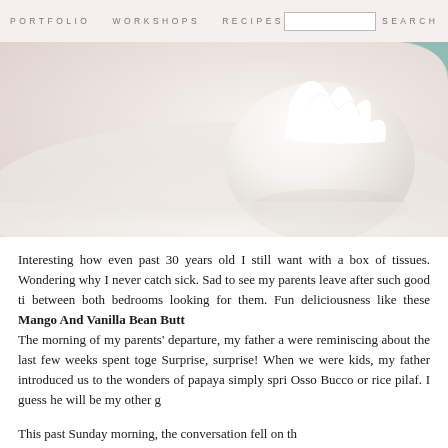PORTFOLIO   WORKSHOPS   RECIPES   SEARCH
[Figure (photo): Close-up photo of white meringue or cream on white fabric/textile background, soft and bright, cream/white tones]
Interesting how even past 30 years old I still want with a box of tissues. Wondering why I never catch sick. Sad to see my parents leave after such good ti between both bedrooms looking for them. Funn deliciousness like these Mango And Vanilla Bean Butt
The morning of my parents' departure, my father a were reminiscing about the last few weeks spent toge Surprise, surprise! When we were kids, my father introduced us to the wonders of papaya simply spri Osso Bucco or rice pilaf. I guess he will be my other g
This past Sunday morning, the conversation fell on th